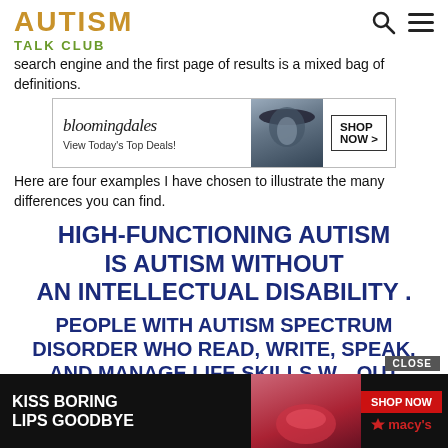AUTISM
TALK CLUB
search engine and the first page of results is a mixed bag of definitions.
[Figure (advertisement): Bloomingdale's advertisement: bloomingdales logo, 'View Today's Top Deals!', photo of woman in hat, SHOP NOW > button]
Here are four examples I have chosen to illustrate the many differences you can find.
HIGH-FUNCTIONING AUTISM IS AUTISM WITHOUT AN INTELLECTUAL DISABILITY .
PEOPLE WITH AUTISM SPECTRUM DISORDER WHO READ, WRITE, SPEAK, AND MANAGE LIFE SKILLS WITHOUT
[Figure (advertisement): Macy's advertisement: 'KISS BORING LIPS GOODBYE', SHOP NOW button, Macy's star logo, CLOSE button]